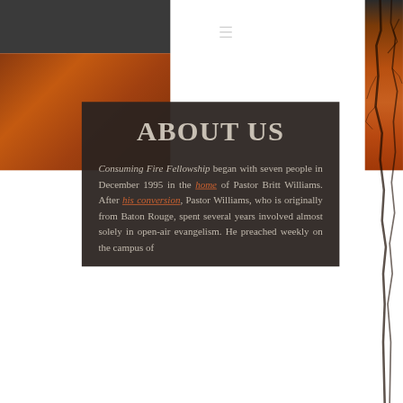[Figure (screenshot): Website header with dark grey background, hamburger menu icon, and autumn fire/tree imagery on the right side]
ABOUT US
Consuming Fire Fellowship began with seven people in December 1995 in the home of Pastor Britt Williams. After his conversion, Pastor Williams, who is originally from Baton Rouge, spent several years involved almost solely in open-air evangelism. He preached weekly on the campus of